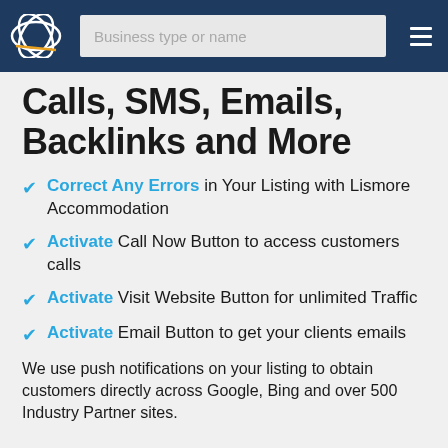Business type or name
Calls, SMS, Emails, Backlinks and More
Correct Any Errors in Your Listing with Lismore Accommodation
Activate Call Now Button to access customers calls
Activate Visit Website Button for unlimited Traffic
Activate Email Button to get your clients emails
We use push notifications on your listing to obtain customers directly across Google, Bing and over 500 Industry Partner sites.